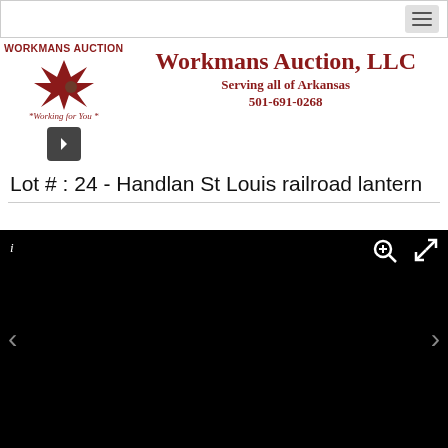Navigation bar with hamburger menu
[Figure (logo): Workmans Auction logo with explosion graphic and tagline 'Working for You']
Workmans Auction, LLC
Serving all of Arkansas
501-691-0268
Lot # : 24 - Handlan St Louis railroad lantern
[Figure (photo): Dark/black image viewer area for auction lot photo with navigation arrows and zoom controls]